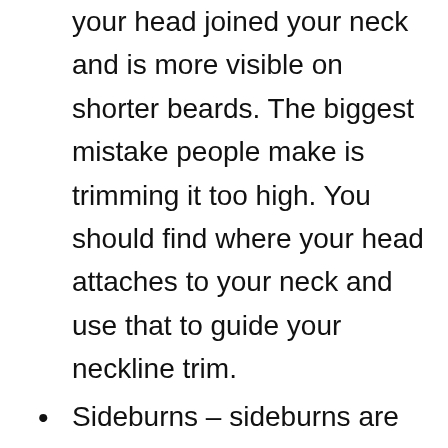your head joined your neck and is more visible on shorter beards. The biggest mistake people make is trimming it too high. You should find where your head attaches to your neck and use that to guide your neckline trim.
Sideburns – sideburns are the connector between your head hair and your beard. Shorter hairstyles should be blended into your beard so there is a seamless connection with a gradient but if you have a baldhead you can opt for a heart-